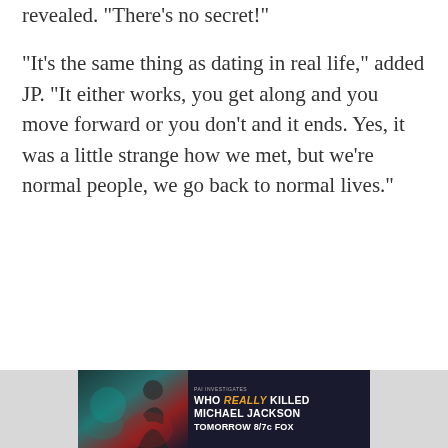revealed. "There's no secret!"
"It's the same thing as dating in real life," added JP. "It either works, you get along and you move forward or you don't and it ends. Yes, it was a little strange how we met, but we're normal people, we go back to normal lives."
[Figure (other): Advertisement banner for 'Who Really Killed Michael Jackson' on FOX, showing 'TOMORROW 8/7c FOX' with a silhouette image and teal/red color scheme. PA2 INVESTIGATES network tag visible.]